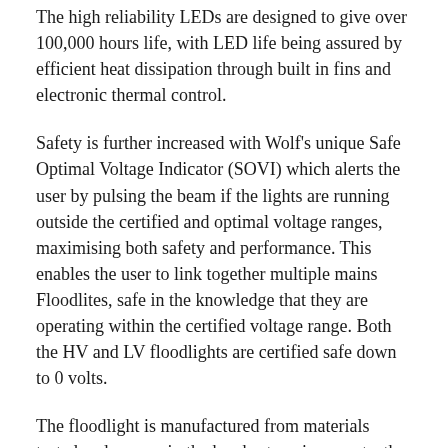The high reliability LEDs are designed to give over 100,000 hours life, with LED life being assured by efficient heat dissipation through built in fins and electronic thermal control.
Safety is further increased with Wolf's unique Safe Optimal Voltage Indicator (SOVI) which alerts the user by pulsing the beam if the lights are running outside the certified and optimal voltage ranges, maximising both safety and performance. This enables the user to link together multiple mains Floodlites, safe in the knowledge that they are operating within the certified voltage range. Both the HV and LV floodlights are certified safe down to 0 volts.
The floodlight is manufactured from materials tested and proven in the harshest environments; the enclosure is made from marine grade aluminium and the lens is toughened, scratch, impact and chemical resistant glass. Further protection is offered by the frame, which is